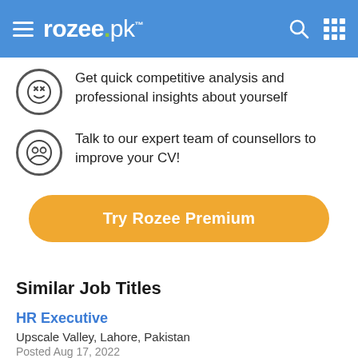rozee.pk
Get quick competitive analysis and professional insights about yourself
Talk to our expert team of counsellors to improve your CV!
Try Rozee Premium
Similar Job Titles
HR Executive
Upscale Valley, Lahore, Pakistan
Posted Aug 17, 2022
HR Executive